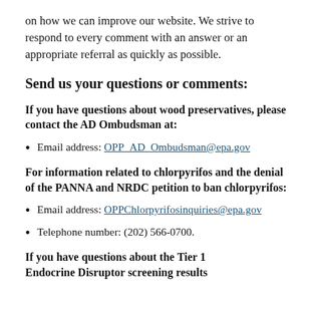on how we can improve our website. We strive to respond to every comment with an answer or an appropriate referral as quickly as possible.
Send us your questions or comments:
If you have questions about wood preservatives, please contact the AD Ombudsman at:
Email address: OPP_AD_Ombudsman@epa.gov
For information related to chlorpyrifos and the denial of the PANNA and NRDC petition to ban chlorpyrifos:
Email address: OPPChlorpyrifosinquiries@epa.gov
Telephone number: (202) 566-0700.
If you have questions about the Tier 1 Endocrine Disruptor screening results